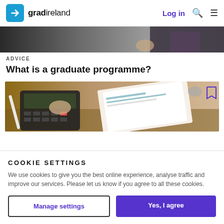gradireland — Log in
[Figure (photo): Partial view of a person in a dark suit, upper body/hand visible, background image at top of article]
ADVICE
What is a graduate programme?
[Figure (photo): Hands using a calculator on a desk next to printed forms/documents in a binder]
COOKIE SETTINGS
We use cookies to give you the best online experience, analyse traffic and improve our services. Please let us know if you agree to all these cookies.
Manage settings
Yes, I agree